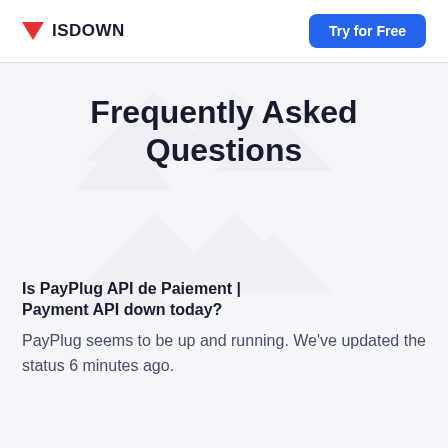ISDOWN | Try for Free
Frequently Asked Questions
Is PayPlug API de Paiement | Payment API down today?
PayPlug seems to be up and running. We've updated the status 6 minutes ago.